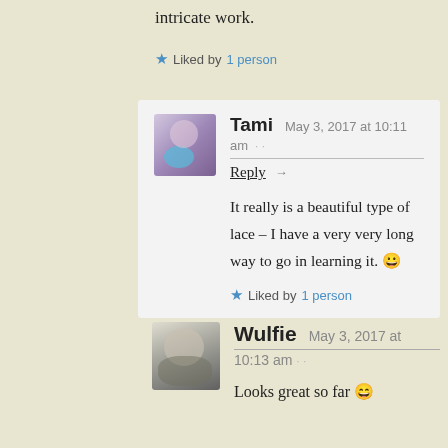intricate work.
★ Liked by 1 person
Tami  May 3, 2017 at 10:11 am · · Reply →  It really is a beautiful type of lace – I have a very very long way to go in learning it. 😀  ★ Liked by 1 person
Wulfie  May 3, 2017 at 10:13 am · ·  Looks great so far 😄